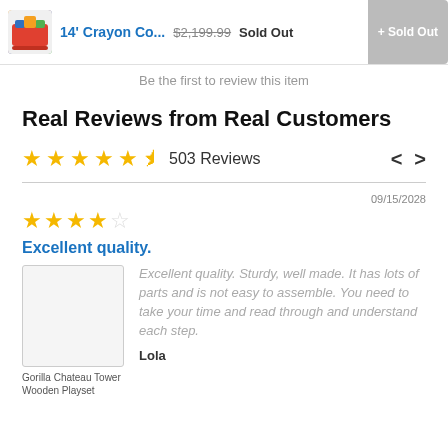14' Crayon Co...  $2,199.99  Sold Out
Be the first to review this item
Real Reviews from Real Customers
★★★★★½ 503 Reviews  <  >
★★★★☆  09/15/2028
Excellent quality.
[Figure (photo): Product image placeholder thumbnail]
Gorilla Chateau Tower Wooden Playset
Excellent quality. Sturdy, well made. It has lots of parts and is not easy to assemble. You need to take your time and read through and understand each step.
Lola